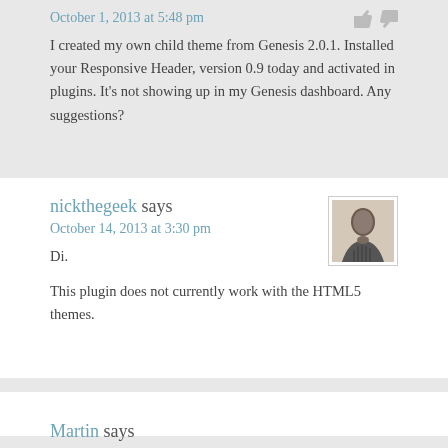October 1, 2013 at 5:48 pm
I created my own child theme from Genesis 2.0.1. Installed your Responsive Header, version 0.9 today and activated in plugins. It's not showing up in my Genesis dashboard. Any suggestions?
nickthegeek says
October 14, 2013 at 3:30 pm
[Figure (photo): Black and white avatar photo of a person]
Di.

This plugin does not currently work with the HTML5 themes.
Martin says